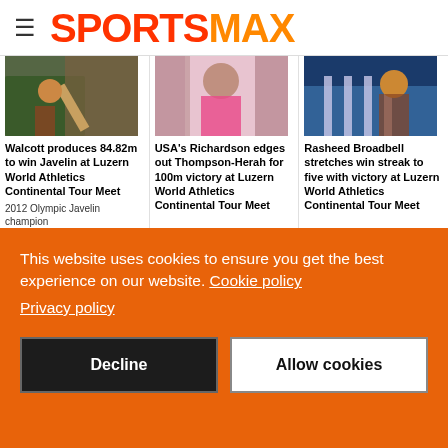SPORTSMAX
[Figure (photo): Athlete throwing javelin at an athletics meet]
[Figure (photo): USA's Richardson in pink athletic wear]
[Figure (photo): Rasheed Broadbell at hurdles competition]
Walcott produces 84.82m to win Javelin at Luzern World Athletics Continental Tour Meet
2012 Olympic Javelin champion
USA's Richardson edges out Thompson-Herah for 100m victory at Luzern World Athletics Continental Tour Meet
Rasheed Broadbell stretches win streak to five with victory at Luzern World Athletics Continental Tour Meet
This website uses cookies to ensure you get the best experience on our website. Cookie policy
Privacy policy
Decline
Allow cookies